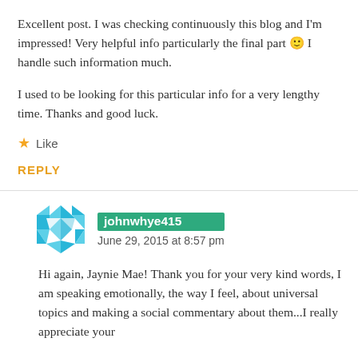Excellent post. I was checking continuously this blog and I'm impressed! Very helpful info particularly the final part 🙂 I handle such information much.

I used to be looking for this particular info for a very lengthy time. Thanks and good luck.
★ Like
REPLY
johnwhye415
June 29, 2015 at 8:57 pm
Hi again, Jaynie Mae! Thank you for your very kind words, I am speaking emotionally, the way I feel, about universal topics and making a social commentary about them...I really appreciate your